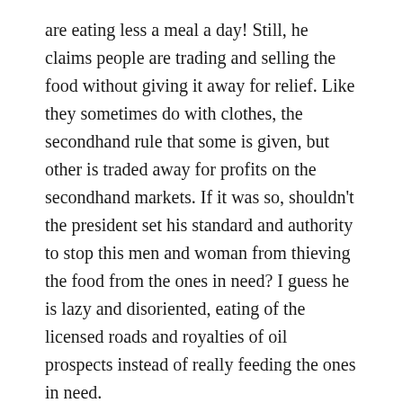are eating less a meal a day! Still, he claims people are trading and selling the food without giving it away for relief. Like they sometimes do with clothes, the secondhand rule that some is given, but other is traded away for profits on the secondhand markets. If it was so, shouldn't the president set his standard and authority to stop this men and woman from thieving the food from the ones in need? I guess he is lazy and disoriented, eating of the licensed roads and royalties of oil prospects instead of really feeding the ones in need.
This isn't about poverty itself, it is the core mismanagement of his 7th term government, the lack of institution and the lack agricultural oversight, as the jerrycans into prosperity is a lie. That the starvation and famine is about attitude and not about lacking government